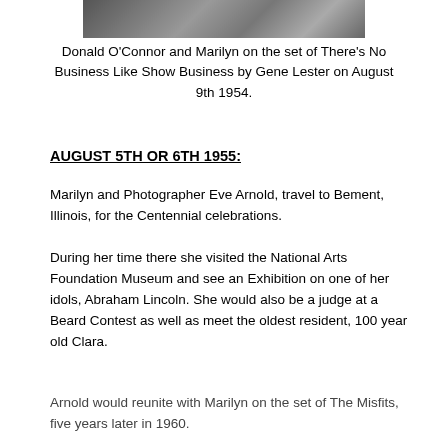[Figure (photo): Partial black and white photograph showing Donald O'Connor and Marilyn on a film set, with clapperboard visible]
Donald O’Connor and Marilyn on the set of There's No Business Like Show Business by Gene Lester on August 9th 1954.
AUGUST 5TH OR 6TH 1955:
Marilyn and Photographer Eve Arnold, travel to Bement, Illinois, for the Centennial celebrations.
During her time there she visited the National Arts Foundation Museum and see an Exhibition on one of her idols, Abraham Lincoln. She would also be a judge at a Beard Contest as well as meet the oldest resident, 100 year old Clara.
Arnold would reunite with Marilyn on the set of The Misfits, five years later in 1960.